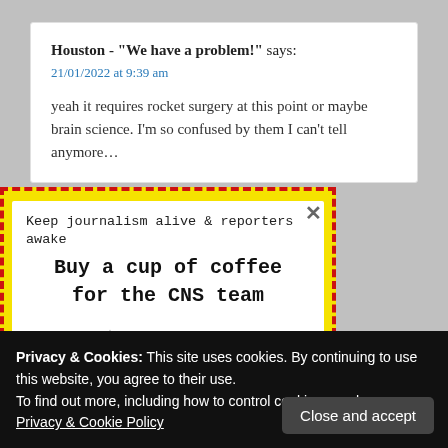Houston - "We have a problem!" says:
21/01/2022 at 9:39 am

yeah it requires rocket surgery at this point or maybe brain science. I'm so confused by them I can't tell anymore…
[Figure (infographic): Yellow-bordered popup advertisement with dashed red border saying 'Keep journalism alive & reporters awake — Buy a cup of coffee for the CNS team' with a blue coffee cup illustration. Has an X close button in the top right.]
Privacy & Cookies: This site uses cookies. By continuing to use this website, you agree to their use.
To find out more, including how to control cookies, see here: Privacy & Cookie Policy

Close and accept